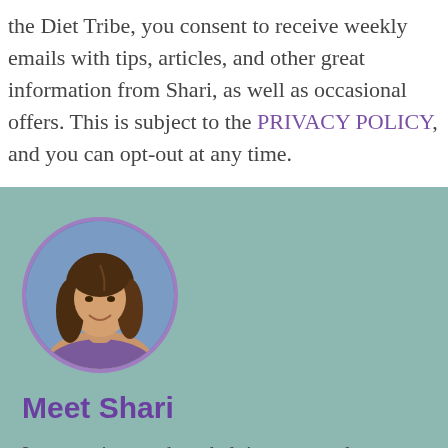the Diet Tribe, you consent to receive weekly emails with tips, articles, and other great information from Shari, as well as occasional offers. This is subject to the PRIVACY POLICY, and you can opt-out at any time.
[Figure (photo): Circular profile photo of Shari, a woman with shoulder-length brown hair, smiling, with a blue background, framed by a purple circular border.]
Meet Shari
I am passionate about helping women lose weight without dieting by teaching them how to trust their inner guidance along with food education...